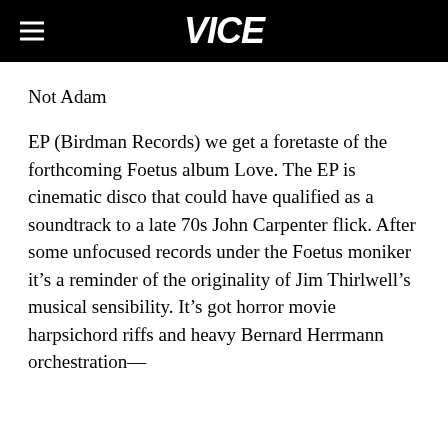VICE
Not Adam
EP (Birdman Records) we get a foretaste of the forthcoming Foetus album Love. The EP is cinematic disco that could have qualified as a soundtrack to a late 70s John Carpenter flick. After some unfocused records under the Foetus moniker it's a reminder of the originality of Jim Thirlwell's musical sensibility. It's got horror movie harpsichord riffs and heavy Bernard Herrmann orchestration—